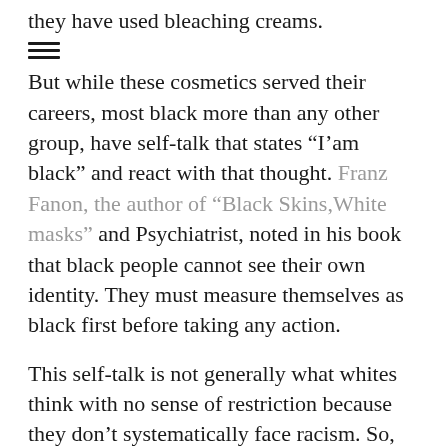they have used bleaching creams.
But while these cosmetics served their careers, most black more than any other group, have self-talk that states “I’am black” and react with that thought. Franz Fanon, the author of “Black Skins,White masks” and Psychiatrist, noted in his book that black people cannot see their own identity. They must measure themselves as black first before taking any action.
This self-talk is not generally what whites think with no sense of restriction because they don’t systematically face racism. So, for example, in 2021, a black man driving and is stopped by the police has reactionary self-talk “I am black” his white counterpart does not have this.
This reaction of I” being black is a learned behavior and is a protective measure and is found in most responses black people have to white people.
This happens even when it is based on a “false neuro